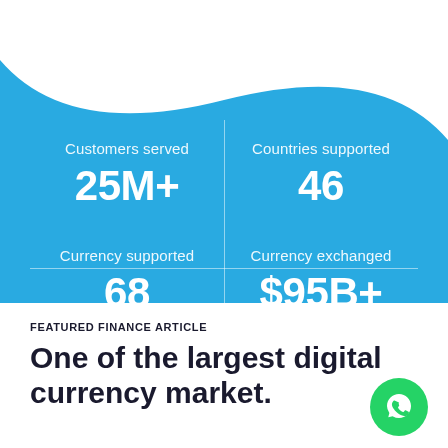Customers served: 25M+
Countries supported: 46
Currency supported: 68
Currency exchanged: $95B+
FEATURED FINANCE ARTICLE
One of the largest digital currency market.